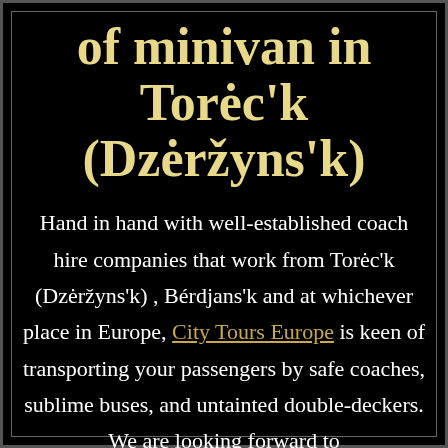of minivan in Torėc'k (Dzėržyns'k)
Hand in hand with well-established coach hire companies that work from Torėc'k (Dzėržyns'k) , Bérdjans'k and at whichever place in Europe, City Tours Europe is keen of transporting your passengers by safe coaches, sublime buses, and untainted double-deckers. We are looking forward to